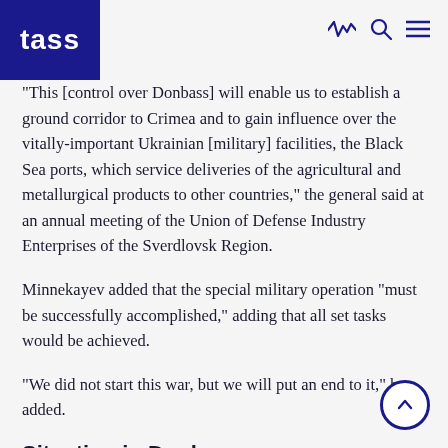TASS
"This [control over Donbass] will enable us to establish a ground corridor to Crimea and to gain influence over the vitally-important Ukrainian [military] facilities, the Black Sea ports, which service deliveries of the agricultural and metallurgical products to other countries," the general said at an annual meeting of the Union of Defense Industry Enterprises of the Sverdlovsk Region.
Minnekayev added that the special military operation "must be successfully accomplished," adding that all set tasks would be achieved.
"We did not start this war, but we will put an end to it," he added.
Situation in Donbass
The situation at the line of engagement in Donbass escalated on February 17. The Donetsk and Lugansk